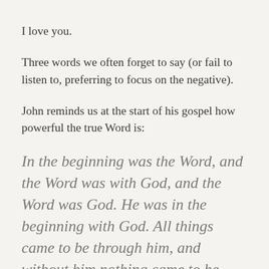I love you.
Three words we often forget to say (or fail to listen to, preferring to focus on the negative).
John reminds us at the start of his gospel how powerful the true Word is:
In the beginning was the Word, and the Word was with God, and the Word was God. He was in the beginning with God. All things came to be through him, and without him nothing came to be. What came to be through him was life, and this